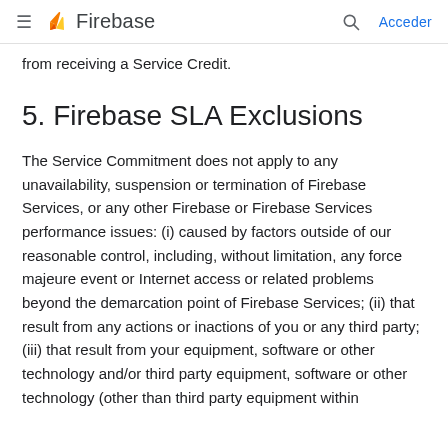Firebase — Acceder
from receiving a Service Credit.
5. Firebase SLA Exclusions
The Service Commitment does not apply to any unavailability, suspension or termination of Firebase Services, or any other Firebase or Firebase Services performance issues: (i) caused by factors outside of our reasonable control, including, without limitation, any force majeure event or Internet access or related problems beyond the demarcation point of Firebase Services; (ii) that result from any actions or inactions of you or any third party; (iii) that result from your equipment, software or other technology and/or third party equipment, software or other technology (other than third party equipment within